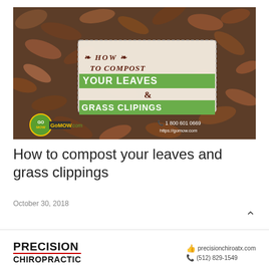[Figure (photo): A photo of autumn leaves on the ground with an overlay text box reading 'HOW TO COMPOST YOUR LEAVES & GRASS CLIPINGS' in a decorative style, with GoMow.com branding and phone number 1 800 601 0669 and https://gomow.com]
How to compost your leaves and grass clippings
October 30, 2018
[Figure (logo): Precision Chiropractic logo with red underline, and contact info: precisionchiroatx.com, (512) 829-1549]